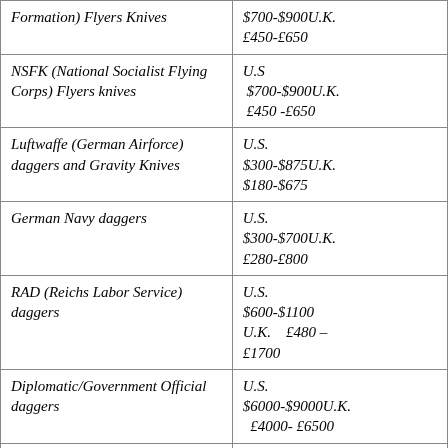| Item | Price |
| --- | --- |
| Formation) Flyers Knives | $700-$900U.K.
£450-£650 |
| NSFK (National Socialist Flying Corps) Flyers knives | U.S
 $700-$900U.K.
 £450 -£650 |
| Luftwaffe (German Airforce) daggers and Gravity Knives | U.S.
$300-$875U.K.
$180-$675 |
| German Navy daggers | U.S.
$300-$700U.K.
£280-£800 |
| RAD (Reichs Labor Service) daggers | U.S.
$600-$1100
U.K.    £480 –
£1700 |
| Diplomatic/Government Official daggers | U.S.
$6000-$9000U.K.
  £4000- £6500 |
| Red Cross/Social/Welfare | U.S. |